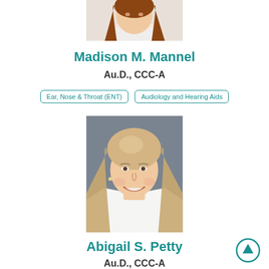[Figure (photo): Partial headshot of Madison M. Mannel, woman with red-brown hair, cropped at top of page]
Madison M. Mannel
Au.D., CCC-A
Ear, Nose & Throat (ENT)
Audiology and Hearing Aids
[Figure (photo): Headshot of Abigail S. Petty, smiling blonde woman in white coat, against grey background]
Abigail S. Petty
Au.D., CCC-A